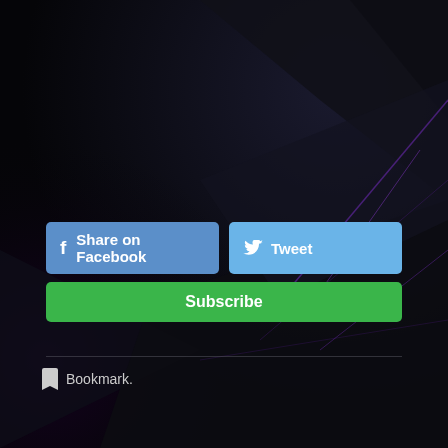[Figure (other): Dark geometric background with angular shapes and purple light rays on black background]
Share on Facebook
Tweet
Subscribe
Bookmark.
← More rambling nonsense…
Literary Theory Final Paper →
Leave a Reply
Your email address will not be published. Required fields are marked